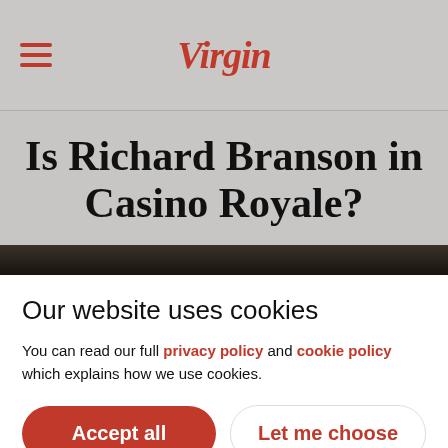Virgin (logo) with hamburger menu
Is Richard Branson in Casino Royale?
[Figure (photo): Dark background image strip, appears to be a blurred interior scene]
Our website uses cookies
You can read our full privacy policy and cookie policy which explains how we use cookies.
Accept all | Let me choose